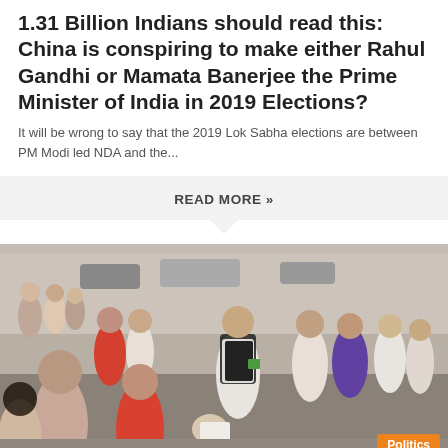1.31 Billion Indians should read this: China is conspiring to make either Rahul Gandhi or Mamata Banerjee the Prime Minister of India in 2019 Elections?
It will be wrong to say that the 2019 Lok Sabha elections are between PM Modi led NDA and the...
READ MORE »
[Figure (photo): A crowd of people gathered outdoors at what appears to be a public event or meeting. A central figure in a black vest over white clothes is prominent, surrounded by many people. A 'Politics' label badge is shown in the bottom right corner.]